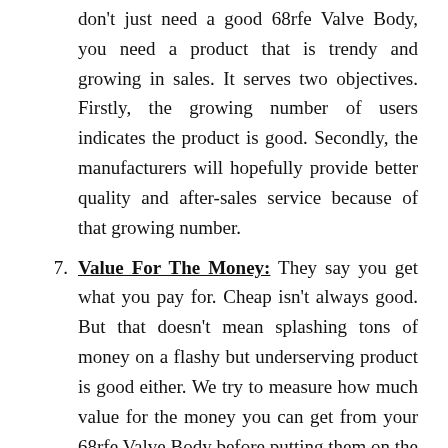don't just need a good 68rfe Valve Body, you need a product that is trendy and growing in sales. It serves two objectives. Firstly, the growing number of users indicates the product is good. Secondly, the manufacturers will hopefully provide better quality and after-sales service because of that growing number.
7. Value For The Money: They say you get what you pay for. Cheap isn't always good. But that doesn't mean splashing tons of money on a flashy but underserving product is good either. We try to measure how much value for the money you can get from your 68rfe Valve Body before putting them on the list.